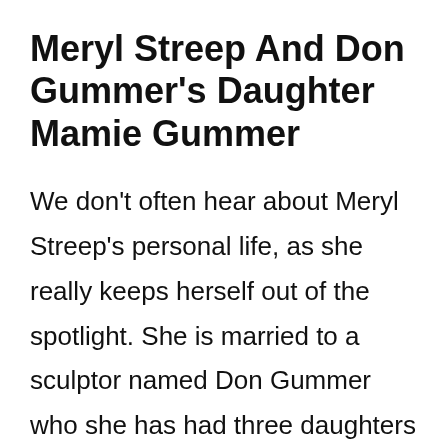Meryl Streep And Don Gummer's Daughter Mamie Gummer
We don't often hear about Meryl Streep's personal life, as she really keeps herself out of the spotlight. She is married to a sculptor named Don Gummer who she has had three daughters with. Each of her daughters has tried their hand at acting, and Mamie Gummer is perhaps the most